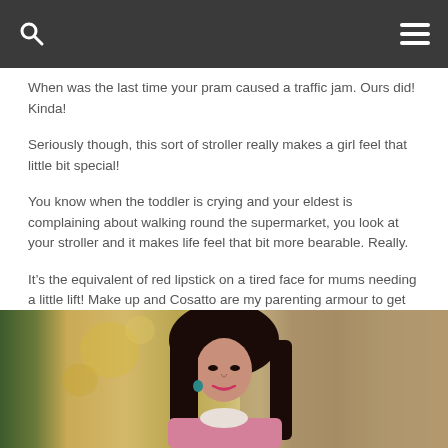When was the last time your pram caused a traffic jam. Ours did! Kinda!
Seriously though, this sort of stroller really makes a girl feel that little bit special!
You know when the toddler is crying and your eldest is complaining about walking round the supermarket, you look at your stroller and it makes life feel that bit more bearable. Really.
It’s the equivalent of red lipstick on a tired face for mums needing a little lift! Make up and Cosatto are my parenting armour to get me through the day!
[Figure (photo): Woman with long dark hair, wearing a pink jacket and white scarf, smiling at camera outdoors with blurred green and gold background]